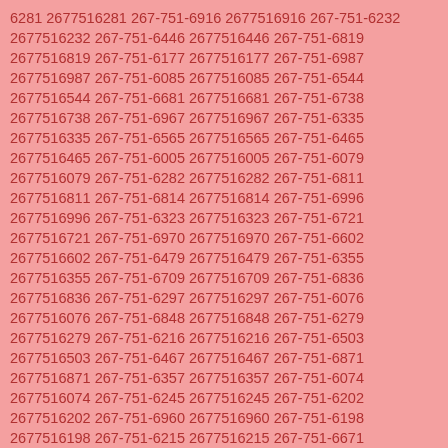6281 2677516281 267-751-6916 2677516916 267-751-6232 2677516232 267-751-6446 2677516446 267-751-6819 2677516819 267-751-6177 2677516177 267-751-6987 2677516987 267-751-6085 2677516085 267-751-6544 2677516544 267-751-6681 2677516681 267-751-6738 2677516738 267-751-6967 2677516967 267-751-6335 2677516335 267-751-6565 2677516565 267-751-6465 2677516465 267-751-6005 2677516005 267-751-6079 2677516079 267-751-6282 2677516282 267-751-6811 2677516811 267-751-6814 2677516814 267-751-6996 2677516996 267-751-6323 2677516323 267-751-6721 2677516721 267-751-6970 2677516970 267-751-6602 2677516602 267-751-6479 2677516479 267-751-6355 2677516355 267-751-6709 2677516709 267-751-6836 2677516836 267-751-6297 2677516297 267-751-6076 2677516076 267-751-6848 2677516848 267-751-6279 2677516279 267-751-6216 2677516216 267-751-6503 2677516503 267-751-6467 2677516467 267-751-6871 2677516871 267-751-6357 2677516357 267-751-6074 2677516074 267-751-6245 2677516245 267-751-6202 2677516202 267-751-6960 2677516960 267-751-6198 2677516198 267-751-6215 2677516215 267-751-6671 2677516671 267-751-6288 2677516288 267-751-6455 2677516455 267-751-6695 2677516695 267-751-6161 2677516161 267-751-6724 2677516724 267-751-6296 2677516296 267-751-6179 2677516179 267-751-6588 2677516588 267-751-6213 2677516213 267-751-6639 2677516639 267-751-6667 2677516667 267-751-6748 2677516748 267-751-6403 2677516403 267-751-6477 2677516477 267-751-6739 2677516739 267-751-6016 2677516016